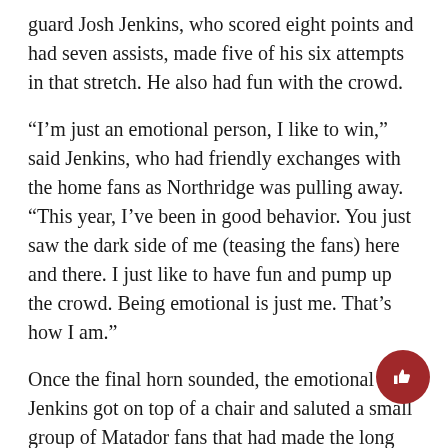guard Josh Jenkins, who scored eight points and had seven assists, made five of his six attempts in that stretch. He also had fun with the crowd.
“I’m just an emotional person, I like to win,” said Jenkins, who had friendly exchanges with the home fans as Northridge was pulling away. “This year, I’ve been in good behavior. You just saw the dark side of me (teasing the fans) here and there. I just like to have fun and pump up the crowd. Being emotional is just me. That’s how I am.”
Once the final horn sounded, the emotional Jenkins got on top of a chair and saluted a small group of Matador fans that had made the long trip to watch their first-place team play. Heard, who is usually a bit less expressive than the guard, decided to stay on the ground and look forward instead.
“We feel good about (beating Fullerton), we’re going